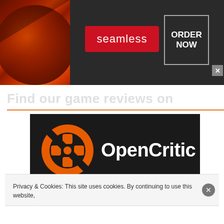[Figure (screenshot): Advertisement banner for Seamless food delivery with pizza image on left, red 'seamless' logo in center, and 'ORDER NOW' button on right with X close button]
Find our game reviews on
[Figure (logo): OpenCritic logo - orange circular controller icon with X button symbol and white text 'OpenCritic']
[Figure (logo): Metacritic logo - yellow/gold circular M icon with white text 'metacritic' partially visible]
Privacy & Cookies: This site uses cookies. By continuing to use this website,